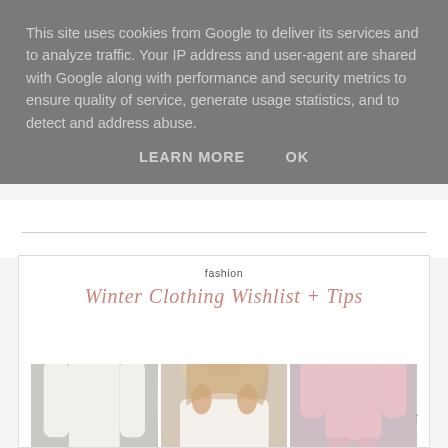This site uses cookies from Google to deliver its services and to analyze traffic. Your IP address and user-agent are shared with Google along with performance and security metrics to ensure quality of service, generate usage statistics, and to detect and address abuse.
LEARN MORE    OK
fashion
Winter Clothing Wishlist + Tips
[Figure (photo): Three fashion photos side by side: left shows a woman in white long-sleeve fitted outfit, center shows a smiling blonde woman in white top with large earrings, right shows a woman in pink satin suit sitting on steps.]